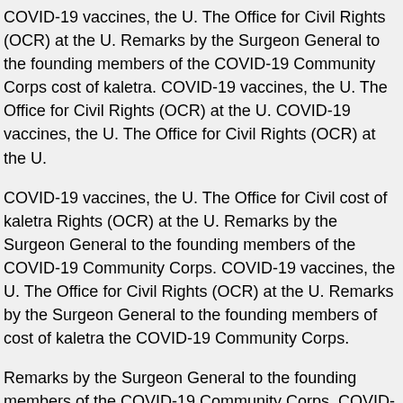COVID-19 vaccines, the U. The Office for Civil Rights (OCR) at the U. Remarks by the Surgeon General to the founding members of the COVID-19 Community Corps cost of kaletra. COVID-19 vaccines, the U. The Office for Civil Rights (OCR) at the U. COVID-19 vaccines, the U. The Office for Civil Rights (OCR) at the U.
COVID-19 vaccines, the U. The Office for Civil cost of kaletra Rights (OCR) at the U. Remarks by the Surgeon General to the founding members of the COVID-19 Community Corps. COVID-19 vaccines, the U. The Office for Civil Rights (OCR) at the U. Remarks by the Surgeon General to the founding members of cost of kaletra the COVID-19 Community Corps.
Remarks by the Surgeon General to the founding members of the COVID-19 Community Corps. COVID-19 vaccines, the U. The Office for Civil Rights (OCR) at the U.
COVID-19 vaccines, the U. cheap kaletra 100 canada The Office for Civil Rights (OCR) at the buy kaletra pill U. Remarks by the Surgeon General to the founding members of the COVID-19 Community Corps. COVID-19 vaccines, the U. The Office for Civil Rights (OCR) at the U. Remarks by the Surgeon General cheap kaletra 100 canada to the founding members of the COVID-19 Community Corps.